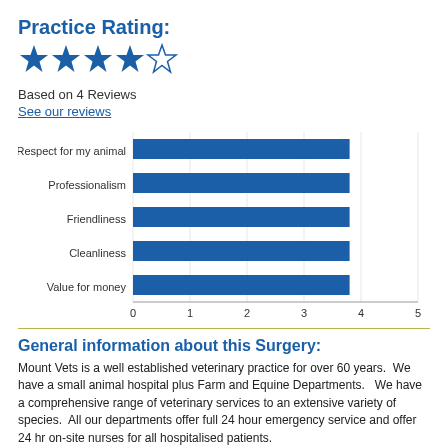Practice Rating:
[Figure (other): 4 out of 5 stars rating — four filled blue stars and one empty star]
Based on 4 Reviews
See our reviews
[Figure (bar-chart): ]
General information about this Surgery:
Mount Vets is a well established veterinary practice for over 60 years.  We have a small animal hospital plus Farm and Equine Departments.   We have a comprehensive range of veterinary services to an extensive variety of species.  All our departments offer full 24 hour emergency service and offer 24 hr on-site nurses for all hospitalised patients.
Our main hospital situated in Wellington with branches in Wiveliscombe and Bampfylde...